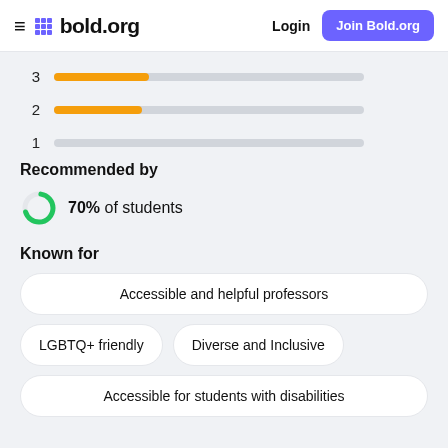bold.org — Login | Join Bold.org
[Figure (bar-chart): Rating bars (3, 2, 1 stars)]
Recommended by
[Figure (donut-chart): 70% of students]
70% of students
Known for
Accessible and helpful professors
LGBTQ+ friendly
Diverse and Inclusive
Accessible for students with disabilities